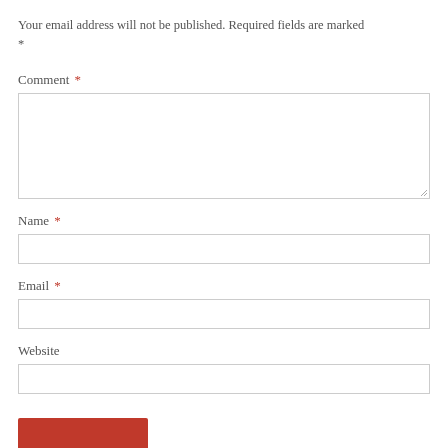Your email address will not be published. Required fields are marked *
Comment *
Name *
Email *
Website